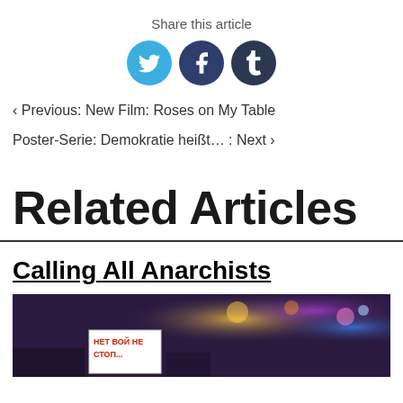Share this article
[Figure (illustration): Social sharing icons: Twitter (blue circle), Facebook (dark blue circle), Tumblr (dark teal circle)]
‹ Previous: New Film: Roses on My Table
Poster-Serie: Demokratie heißt… : Next ›
Related Articles
Calling All Anarchists
[Figure (photo): Night street protest scene with blurred lights and a sign reading НЕТ ВОЙ НЕ СТОП (No War Stop) in red text on white paper]